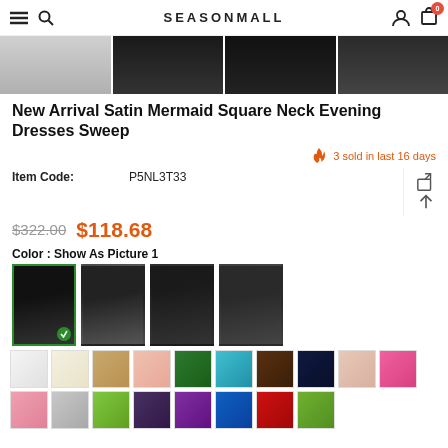SEASONMALL
[Figure (photo): Four thumbnail images of black mermaid evening dress from different angles]
New Arrival Satin Mermaid Square Neck Evening Dresses Sweep
3 sold in last 16 days
Item Code: P5NL3T33
$322.00  $118.68
Color : Show As Picture 1
[Figure (photo): Four dress color variant swatches showing black dress options, first one selected with green checkmark]
[Figure (photo): Color fabric swatches grid - row 1: white, ivory, champagne, blush, green, teal, brown, navy, nude, pink]
[Figure (photo): Color fabric swatches grid - row 2 (partial): blush, silver, lime, purple, violet, blue, red, olive]